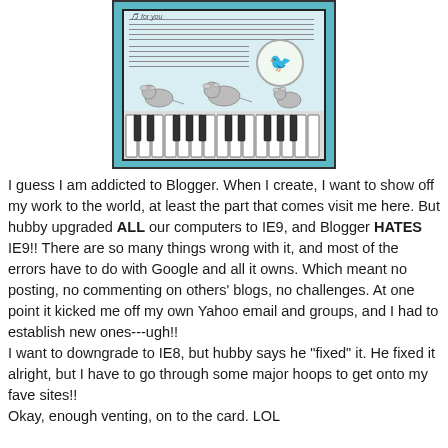[Figure (photo): A handmade greeting card with a teal/turquoise border and a light blue interior. The card features illustrated mice playing on piano keys, sheet music in the background, and a circular vignette with a green bird. Text at top reads 'for you'.]
I guess I am addicted to Blogger. When I create, I want to show off my work to the world, at least the part that comes visit me here. But hubby upgraded ALL our computers to IE9, and Blogger HATES IE9!! There are so many things wrong with it, and most of the errors have to do with Google and all it owns. Which meant no posting, no commenting on others' blogs, no challenges. At one point it kicked me off my own Yahoo email and groups, and I had to establish new ones---ugh!!
I want to downgrade to IE8, but hubby says he "fixed" it. He fixed it alright, but I have to go through some major hoops to get onto my fave sites!!
Okay, enough venting, on to the card. LOL